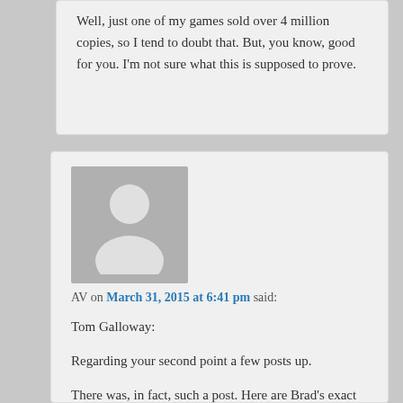Well, just one of my games sold over 4 million copies, so I tend to doubt that. But, you know, good for you. I'm not sure what this is supposed to prove.
AV on March 31, 2015 at 6:41 pm said:
Tom Galloway:
Regarding your second point a few posts up.
There was, in fact, such a post. Here are Brad's exact words:
“Thus, I am going to slowly compile a slate. Of books and stories (and other things, and people)